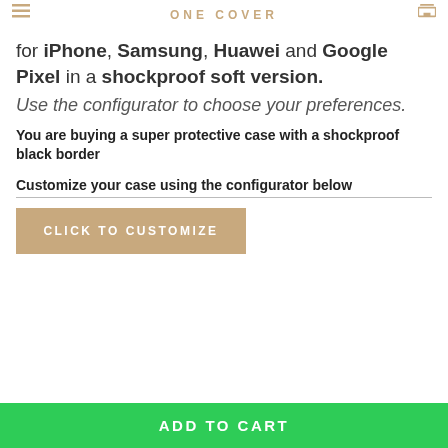ONE COVER
for iPhone, Samsung, Huawei and Google Pixel in a shockproof soft version. Use the configurator to choose your preferences.
You are buying a super protective case with a shockproof black border
Customize your case using the configurator below
CLICK TO CUSTOMIZE
ADD TO CART